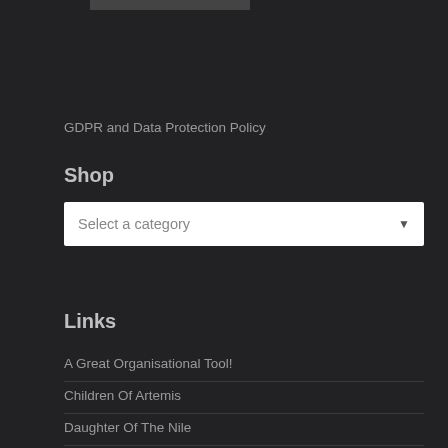GDPR and Data Protection Policy
Shop
[Figure (screenshot): Dropdown selector with placeholder text 'Select a category' and a down-arrow icon]
Links
A Great Organisational Tool!
Children Of Artemis
Daughter Of The Nile